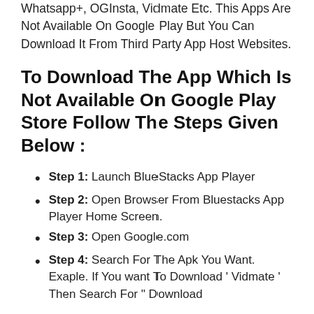Whatsapp+, OGInsta, Vidmate Etc. This Apps Are Not Available On Google Play But You Can Download It From Third Party App Host Websites.
To Download The App Which Is Not Available On Google Play Store Follow The Steps Given Below :
Step 1: Launch BlueStacks App Player
Step 2: Open Browser From Bluestacks App Player Home Screen.
Step 3: Open Google.com
Step 4: Search For The Apk You Want. Exaple. If You want To Download ' Vidmate ' Then Search For " Download